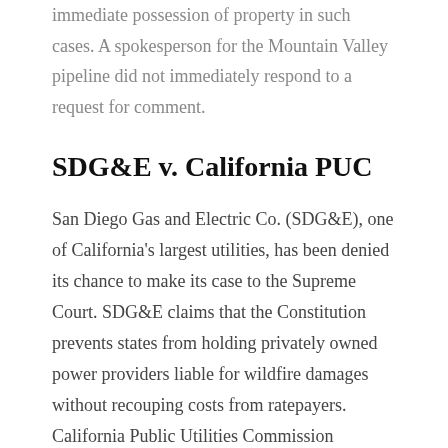immediate possession of property in such cases. A spokesperson for the Mountain Valley pipeline did not immediately respond to a request for comment.
SDG&E v. California PUC
San Diego Gas and Electric Co. (SDG&E), one of California's largest utilities, has been denied its chance to make its case to the Supreme Court. SDG&E claims that the Constitution prevents states from holding privately owned power providers liable for wildfire damages without recouping costs from ratepayers. California Public Utilities Commission previously denied San Diego Gas &